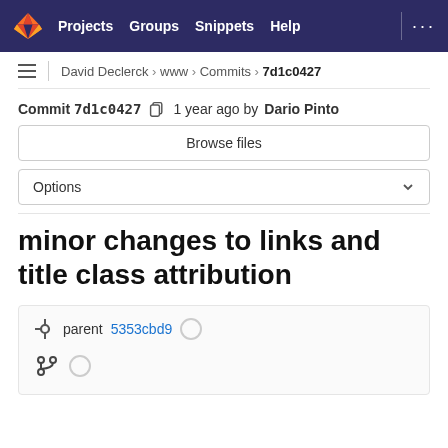Projects  Groups  Snippets  Help
David Declerck > www > Commits > 7d1c0427
Commit 7d1c0427  1 year ago by Dario Pinto
Browse files
Options
minor changes to links and title class attribution
parent 5353cbd9
(branch icon)